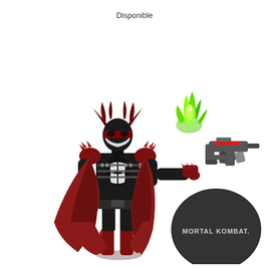Disponible
[Figure (photo): Product photo of a Mortal Kombat Spawn action figure in black and red armor with a dark red cape, holding out one hand with a green flame effect accessory floating above it. Also shown separately are a red and grey submachine gun accessory and a dark circular display base with 'MORTAL KOMBAT.' text printed on it.]